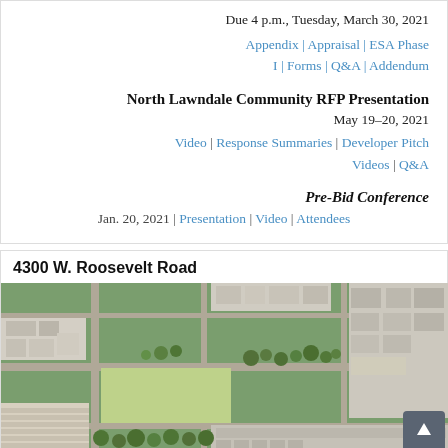Due 4 p.m., Tuesday, March 30, 2021
Appendix | Appraisal | ESA Phase I | Forms | Q&A | Addendum
North Lawndale Community RFP Presentation
May 19–20, 2021
Video | Response Summaries | Developer Pitch Videos | Q&A
Pre-Bid Conference
Jan. 20, 2021 | Presentation | Video | Attendees
4300 W. Roosevelt Road
[Figure (photo): Aerial photograph of 4300 W. Roosevelt Road, North Lawndale, Chicago. Shows a large vacant lot/green space surrounded by urban residential and commercial buildings, streets, and trees viewed from above.]